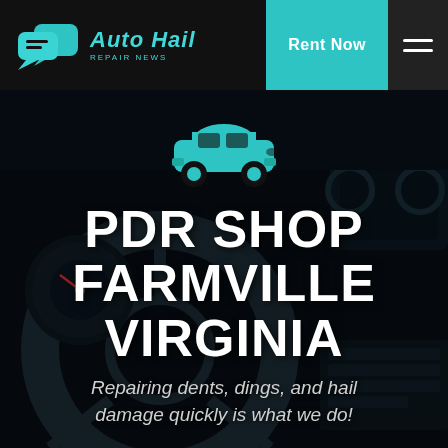Auto Hail Repair News — Navigation bar with logo, Rent Now button, and hamburger menu
[Figure (illustration): Auto Hail Repair News logo: two teal speech bubble icons and teal italic text 'Auto Hail' with subtitle 'Repair News']
Rent Now
[Figure (photo): Dark car interior background showing a steering wheel, dashboard gauges, and controls with a dark overlay]
[Figure (illustration): Teal car icon (top-down silhouette)]
PDR SHOP FARMVILLE VIRGINIA
Repairing dents, dings, and hail damage quickly is what we do!